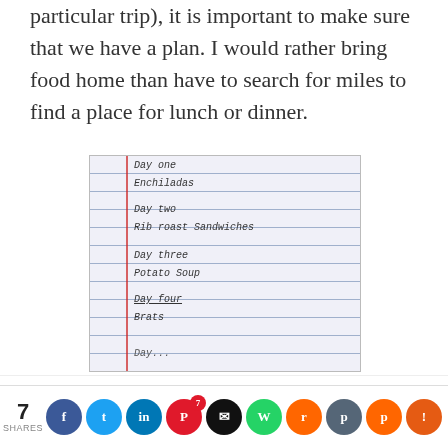particular trip), it is important to make sure that we have a plan. I would rather bring food home than have to search for miles to find a place for lunch or dinner.
[Figure (photo): A handwritten list on lined notebook paper with a red margin line. The list reads: Day one / Enchiladas, Day two / Rib roast sandwiches, Day three / Potato Soup, Day four / Brats, and a partial fifth entry at the bottom.]
This website uses cookies to improve your experience. We'll assume you're ok with this, but you can opt-out if you wish.